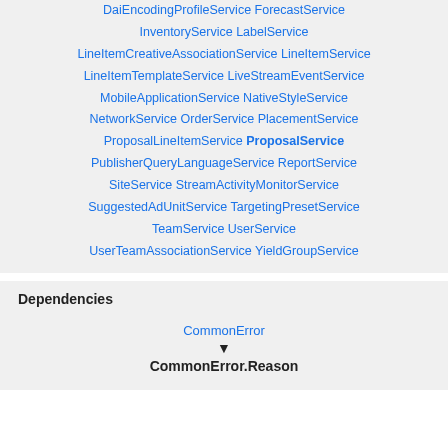DaiEncodingProfileService ForecastService InventoryService LabelService LineItemCreativeAssociationService LineItemService LineItemTemplateService LiveStreamEventService MobileApplicationService NativeStyleService NetworkService OrderService PlacementService ProposalLineItemService ProposalService PublisherQueryLanguageService ReportService SiteService StreamActivityMonitorService SuggestedAdUnitService TargetingPresetService TeamService UserService UserTeamAssociationService YieldGroupService
Dependencies
[Figure (other): Dependency diagram showing CommonError pointing down to CommonError.Reason]